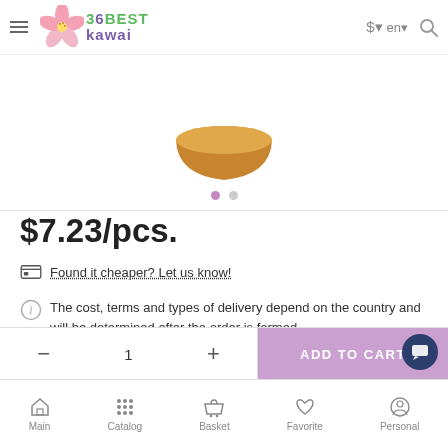36BEST kawai
[Figure (photo): A wooden bowl (tan/orange) shown from above, with two navigation dots below it]
$7.23/pcs.
Found it cheaper? Let us know!
The cost, terms and types of delivery depend on the country and will be determined after the order is formed. Surface mail - 2-5 months Air - 14-44 days
Main  Catalog  Basket  Favorite  Personal